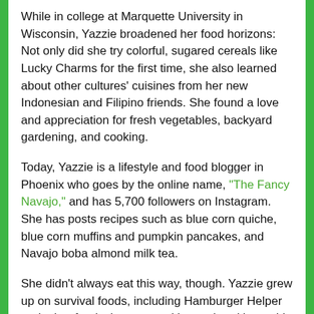While in college at Marquette University in Wisconsin, Yazzie broadened her food horizons: Not only did she try colorful, sugared cereals like Lucky Charms for the first time, she also learned about other cultures' cuisines from her new Indonesian and Filipino friends. She found a love and appreciation for fresh vegetables, backyard gardening, and cooking.
Today, Yazzie is a lifestyle and food blogger in Phoenix who goes by the online name, "The Fancy Navajo," and has 5,700 followers on Instagram. She has posts recipes such as blue corn quiche, blue corn muffins and pumpkin pancakes, and Navajo boba almond milk tea.
She didn't always eat this way, though. Yazzie grew up on survival foods, including Hamburger Helper and other foods that came with powdered just-add-water sauces, she says. Her family made ends meet and, as a result, there wasn't much extra money for eating out, so a lot of cooking happened in her house. From her mother, she learned how to cook dinner, and from her older brother, she learned how to bake...